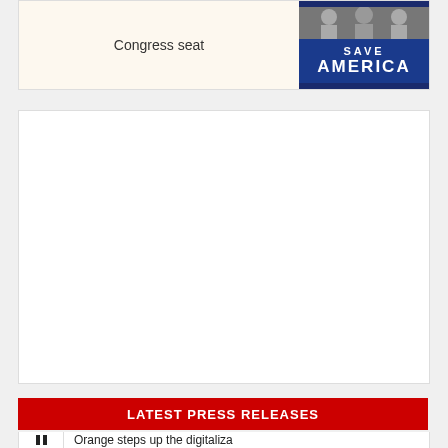Congress seat
[Figure (photo): Photo of people in front of a 'Save America' banner with blue background]
[Figure (other): Advertisement white block]
LATEST PRESS RELEASES
Orange steps up the digitaliza